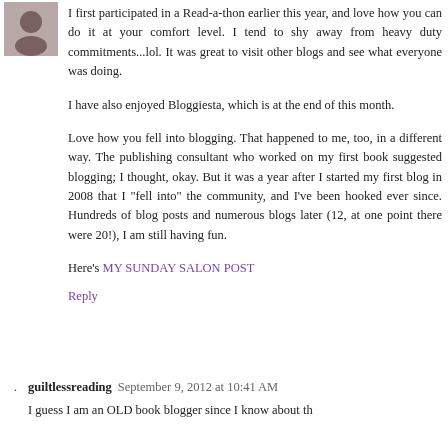[Figure (photo): Small avatar photo of a person, top-left corner]
I first participated in a Read-a-thon earlier this year, and love how you can do it at your comfort level. I tend to shy away from heavy duty commitments...lol. It was great to visit other blogs and see what everyone was doing.
I have also enjoyed Bloggiesta, which is at the end of this month.
Love how you fell into blogging. That happened to me, too, in a different way. The publishing consultant who worked on my first book suggested blogging; I thought, okay. But it was a year after I started my first blog in 2008 that I "fell into" the community, and I've been hooked ever since. Hundreds of blog posts and numerous blogs later (12, at one point there were 20!), I am still having fun.
Here's MY SUNDAY SALON POST
Reply
guiltlessreading September 9, 2012 at 10:41 AM
I guess I am an OLD book blogger since I know about th